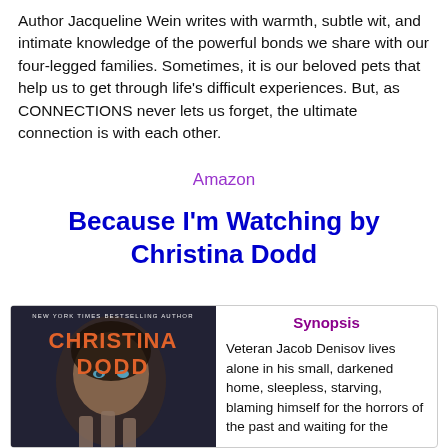Author Jacqueline Wein writes with warmth, subtle wit, and intimate knowledge of the powerful bonds we share with our four-legged families. Sometimes, it is our beloved pets that help us to get through life's difficult experiences. But, as CONNECTIONS never lets us forget, the ultimate connection is with each other.
Amazon
Because I'm Watching by Christina Dodd
[Figure (illustration): Book cover for 'Because I'm Watching' by Christina Dodd, showing a woman's face and hands reaching up, dark atmospheric styling, with text 'NEW YORK TIMES BESTSELLING AUTHOR' at top and 'CHRISTINA DODD' in large orange letters]
Synopsis
Veteran Jacob Denisov lives alone in his small, darkened home, sleepless, starving, blaming himself for the horrors of the past and waiting for the